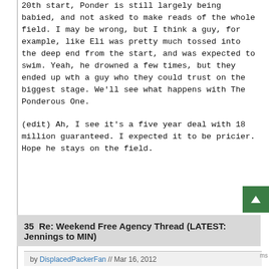20th start, Ponder is still largely being babied, and not asked to make reads of the whole field. I may be wrong, but I think a guy, for example, like Eli was pretty much tossed into the deep end from the start, and was expected to swim. Yeah, he drowned a few times, but they ended up wth a guy who they could trust on the biggest stage. We'll see what happens with The Ponderous One.
(edit) Ah, I see it's a five year deal with 18 million guaranteed. I expected it to be pricier. Hope he stays on the field.
35  Re: Weekend Free Agency Thread (LATEST: Jennings to MIN)
by DisplacedPackerFan // Mar 16, 2012